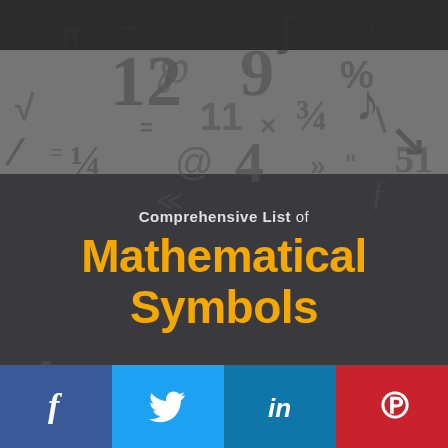[Figure (illustration): Decorative background with scattered mathematical symbols and numbers (12, 9, %, 3/4, 4, =, @, >>, etc.) on a grey/dark background]
Comprehensive List of Mathematical Symbols
[Figure (infographic): Social sharing bar with Facebook (blue), Twitter (light blue), LinkedIn (dark blue), and Pinterest (red) buttons with white icons]